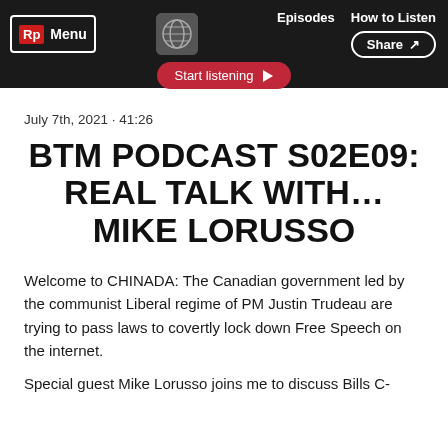Menu | Start listening | Episodes | How to Listen | Share
July 7th, 2021 · 41:26
BTM PODCAST S02E09: REAL TALK WITH… MIKE LORUSSO
Welcome to CHINADA: The Canadian government led by the communist Liberal regime of PM Justin Trudeau are trying to pass laws to covertly lock down Free Speech on the internet.
Special guest Mike Lorusso joins me to discuss Bills C-